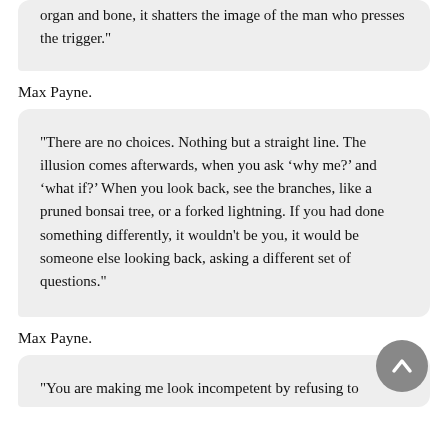organ and bone, it shatters the image of the man who presses the trigger."
Max Payne.
"There are no choices. Nothing but a straight line. The illusion comes afterwards, when you ask ‘why me?’ and ‘what if?’ When you look back, see the branches, like a pruned bonsai tree, or a forked lightning. If you had done something differently, it wouldn't be you, it would be someone else looking back, asking a different set of questions."
Max Payne.
"You are making me look incompetent by refusing to